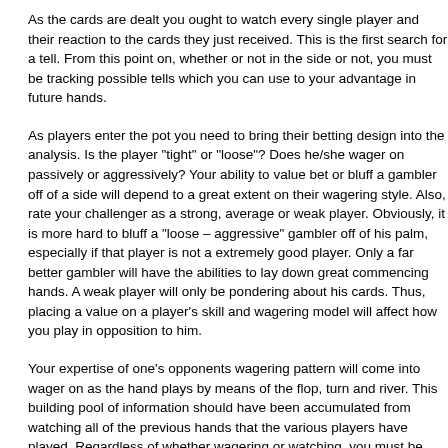As the cards are dealt you ought to watch every single player and their reaction to the cards they just received. This is the first search for a tell. From this point on, whether or not in the side or not, you must be tracking possible tells which you can use to your advantage in future hands.
As players enter the pot you need to bring their betting design into the analysis. Is the player "tight" or "loose"? Does he/she wager on passively or aggressively? Your ability to value bet or bluff a gambler off of a side will depend to a great extent on their wagering style. Also, rate your challenger as a strong, average or weak player. Obviously, it is more hard to bluff a "loose – aggressive" gambler off of his palm, especially if that player is not a extremely good player. Only a far better gambler will have the abilities to lay down great commencing hands. A weak player will only be pondering about his cards. Thus, placing a value on a player's skill and wagering model will affect how you play in opposition to him.
Your expertise of one's opponents wagering pattern will come into wager on as the hand plays by means of the flop, turn and river. This building pool of information should have been accumulated from watching all of the previous hands that the various players have played. Regardless of whether wagering or watching, you must be anticipating what sort of action is possible to expect from just about every gambler around the flop. For example, does a player always make a continuation wager at the flop if he makes a pre-flop increase? Does a player only bet if he catches a piece of the flop or does he only wager if he catches top pair? Is the gambler a bluffer or non-bluffer, limper or calling station? These are just a small sample of the clues about that gambler's betting pattern you gain each time he plays a hand.